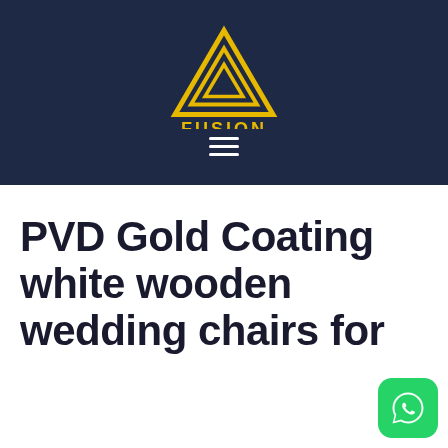[Figure (logo): Fusion Coating logo: a yellow geometric triangle/chevron mark with the text FUSION in bold yellow uppercase and COATING in smaller yellow uppercase below, on a dark navy background]
PVD Gold Coating white wooden wedding chairs for